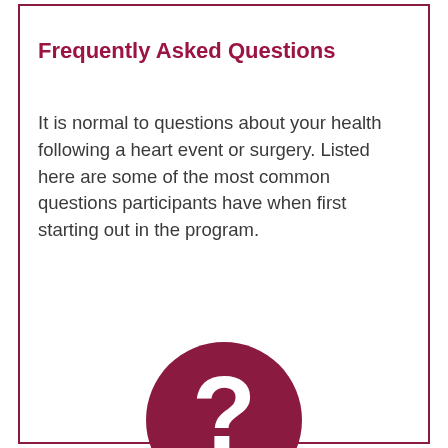Frequently Asked Questions
It is normal to questions about your health following a heart event or surgery. Listed here are some of the most common questions participants have when first starting out in the program.
[Figure (illustration): A dark red/maroon circle with a white question mark symbol in the center, representing a FAQ icon.]